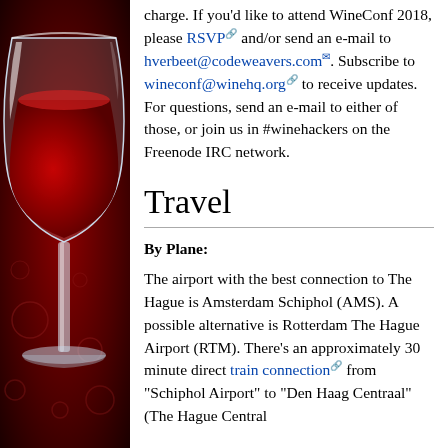[Figure (illustration): Wine glass with red wine on dark red background sidebar]
charge. If you'd like to attend WineConf 2018, please RSVP and/or send an e-mail to hverbeet@codeweavers.com. Subscribe to wineconf@winehq.org to receive updates. For questions, send an e-mail to either of those, or join us in #winehackers on the Freenode IRC network.
Travel
By Plane:
The airport with the best connection to The Hague is Amsterdam Schiphol (AMS). A possible alternative is Rotterdam The Hague Airport (RTM). There's an approximately 30 minute direct train connection from "Schiphol Airport" to "Den Haag Centraal" (The Hague Central